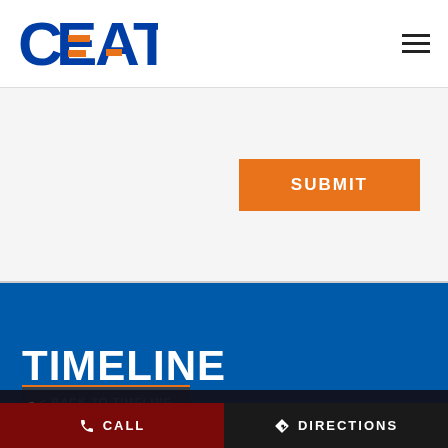[Figure (logo): CEAT logo with orange horizontal stripes through the E and A letters, in blue and orange]
SUBMIT
TIMELINE
< BACK TO TIMELINE
Cookie Information
On our website, we use services (including from third-party providers) that help us to improve our online presence (optimization of website) and to display content that is geared to their interests. We need your consent before being able to use these services.
I ACCEPT
CALL
DIRECTIONS